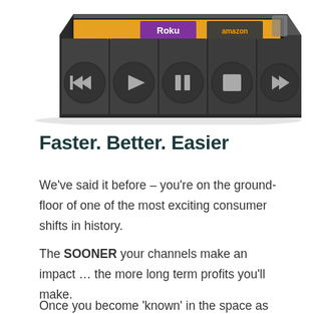[Figure (illustration): A 3D rendered media streaming device (set-top box) with an orange/yellow screen showing Roku and Amazon logos, and five control buttons (rewind, play, pause, stop, fast-forward) on the front panel.]
Faster. Better. Easier
We've said it before – you're on the ground-floor of one of the most exciting consumer shifts in history.
The SOONER your channels make an impact … the more long term profits you'll make.
Once you become 'known' in the space as the